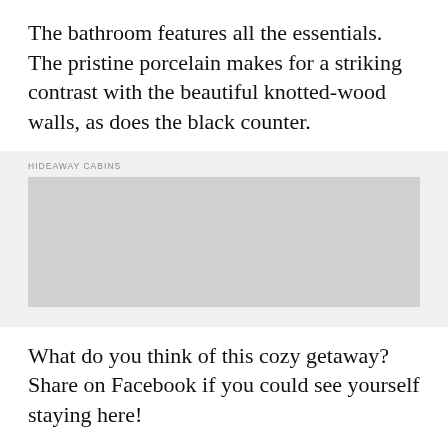The bathroom features all the essentials. The pristine porcelain makes for a striking contrast with the beautiful knotted-wood walls, as does the black counter.
HIDEAWAY CABINS
What do you think of this cozy getaway? Share on Facebook if you could see yourself staying here!
RESOURCES HIDEAWAY CABINS
ADVERTISEMENT
[Figure (photo): Bottom portion of a cabin building with orange/brown wood siding and a roof visible against a blue sky.]